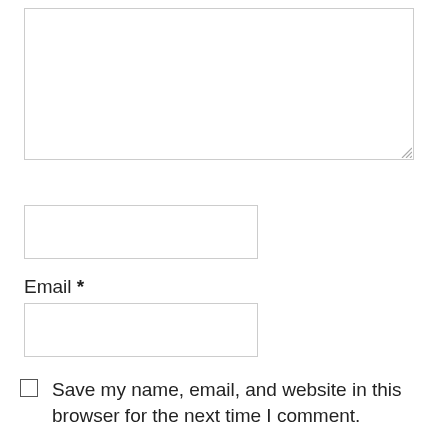[Figure (screenshot): A textarea form input box with a resize handle in the bottom-right corner]
Name *
[Figure (screenshot): A text input box for Name field]
Email *
[Figure (screenshot): A text input box for Email field]
Save my name, email, and website in this browser for the next time I comment.